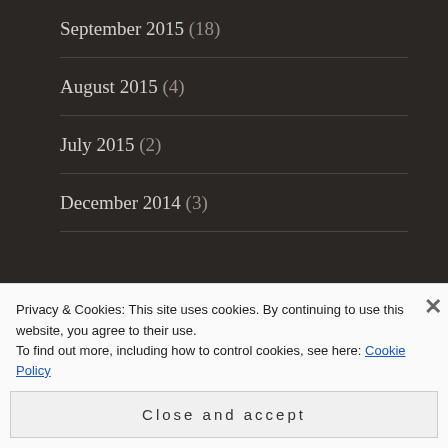September 2015 (18)
August 2015 (4)
July 2015 (2)
December 2014 (3)
FOLLOW ME ON TWITTER@OBAPATHWAY
My Tweets
Privacy & Cookies: This site uses cookies. By continuing to use this website, you agree to their use.
To find out more, including how to control cookies, see here: Cookie Policy
Close and accept